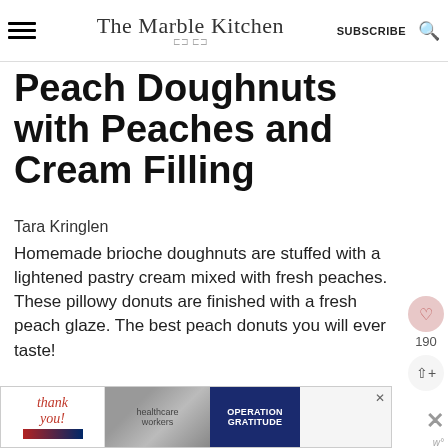The Marble Kitchen | SUBSCRIBE
Peach Doughnuts with Peaches and Cream Filling
Tara Kringlen
Homemade brioche doughnuts are stuffed with a lightened pastry cream mixed with fresh peaches. These pillowy donuts are finished with a fresh peach glaze. The best peach donuts you will ever taste!
No ratings yet
[Figure (photo): Advertisement banner for Operation Gratitude showing thank you message and people holding boxes]